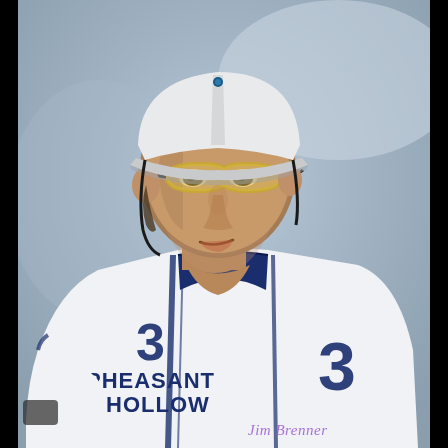[Figure (photo): Close-up photograph of a polo player wearing a white helmet with a brim, yellow-tinted protective goggles, and a white jersey with navy blue text reading 'PHEASANT HOLLOW' and the number 3 on the chest and sleeve. The player is looking to the side. A watermark in the bottom-right corner reads 'Jim Brenner' in purple italic script.]